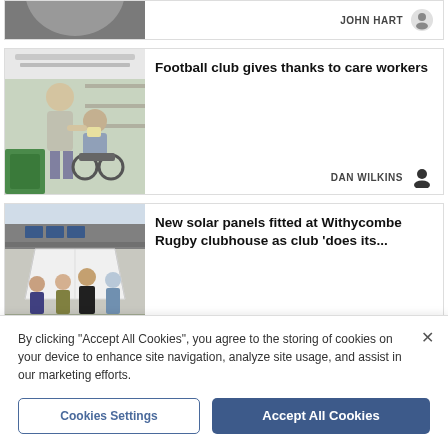[Figure (photo): Partial top card showing a person, cropped, with JOHN HART author credit]
JOHN HART
[Figure (photo): Photo of an elderly man in a shop assisting a person in a wheelchair]
Football club gives thanks to care workers
DAN WILKINS
[Figure (photo): Photo of men standing outside a building with a white canopy, solar panels visible on roof]
New solar panels fitted at Withycombe Rugby clubhouse as club 'does its...
By clicking "Accept All Cookies", you agree to the storing of cookies on your device to enhance site navigation, analyze site usage, and assist in our marketing efforts.
Cookies Settings
Accept All Cookies